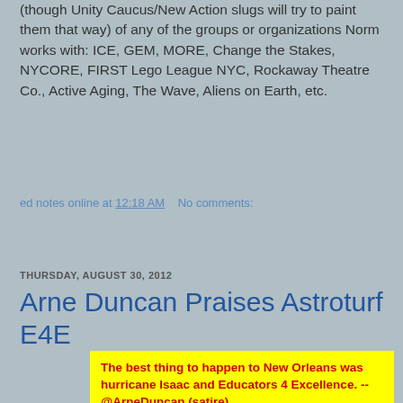(though Unity Caucus/New Action slugs will try to paint them that way) of any of the groups or organizations Norm works with: ICE, GEM, MORE, Change the Stakes, NYCORE, FIRST Lego League NYC, Rockaway Theatre Co., Active Aging, The Wave, Aliens on Earth, etc.
ed notes online at 12:18 AM   No comments:
Share
THURSDAY, AUGUST 30, 2012
Arne Duncan Praises Astroturf E4E
The best thing to happen to New Orleans was hurricane Isaac and Educators 4 Excellence. --@ArneDuncan (satire)
WHEN EDUCATION Secretary Arne Duncan praised Hurricane Katrina a few years ago as the best thing that happened to the education system in New Orleans--because it enabled the closure of most public schools and their